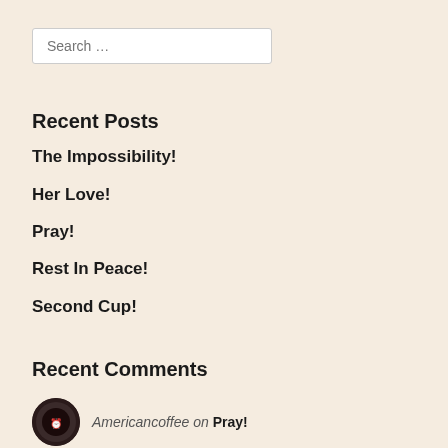Search …
Recent Posts
The Impossibility!
Her Love!
Pray!
Rest In Peace!
Second Cup!
Recent Comments
Americancoffee on Pray!